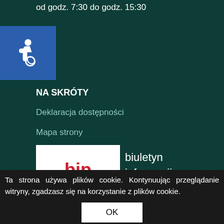od godz. 7:30 do godz. 15:30
[Figure (illustration): Accessibility icon — white wheelchair symbol on blue background]
NA SKRÓTY
Deklaracja dostępności
Mapa strony
[Figure (logo): BIP logo — biuletyn informacji publicznej, red and white logo with Polish flag colors]
Ta strona używa plików cookie. Kontynuując przeglądanie witryny, zgadzasz się na korzystanie z plików cookie.
OK